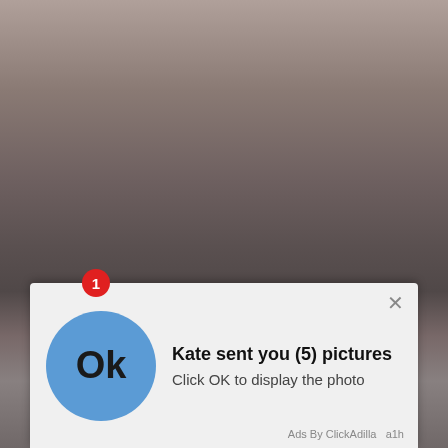[Figure (screenshot): Background photo partially obscured by notification overlay]
Kate sent you (5) pictures
Click OK to display the photo
Ads By ClickAdilla   a1h